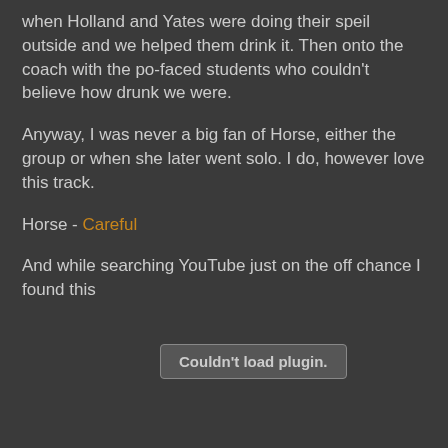when Holland and Yates were doing their speil outside and we helped them drink it. Then onto the coach with the po-faced students who couldn't believe how drunk we were.
Anyway, I was never a big fan of Horse, either the group or when she later went solo. I do, however love this track.
Horse - Careful
And while searching YouTube just on the off chance I found this
[Figure (other): Embedded video plugin placeholder showing 'Couldn't load plugin.' message in a grey rounded rectangle button]